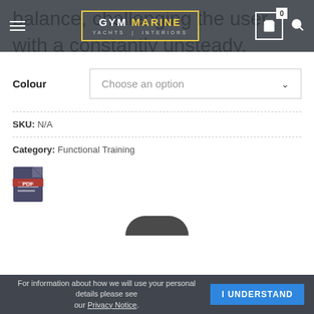GYM MARINE | YACHTS | INTERIORS — site navigation header with cart (0) and search
balance, challenging the user with a constantly unsteady, shifting base – thus forcing the body to react with each tilt. Compensatory moves engage the deep muscular system while the body responds to continual impulses and stimuli.
Colour — Choose an option (dropdown)
SKU: N/A
Category: Functional Training
[Figure (other): PDF document icon]
[Figure (other): Partial product image visible at bottom of page]
For information about how we will use your personal details please see our Privacy Notice. | I UNDERSTAND button